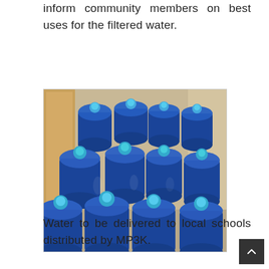inform community members on best uses for the filtered water.
[Figure (photo): Multiple large blue plastic water jugs/containers with light blue caps stacked together in a room with beige walls, photographed from above at an angle.]
Water to be delivered to local schools distributed by MP3K.